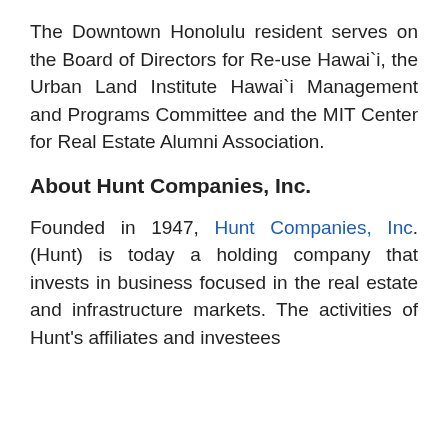The Downtown Honolulu resident serves on the Board of Directors for Re-use Hawai`i, the Urban Land Institute Hawai`i Management and Programs Committee and the MIT Center for Real Estate Alumni Association.
About Hunt Companies, Inc.
Founded in 1947, Hunt Companies, Inc. (Hunt) is today a holding company that invests in business focused in the real estate and infrastructure markets. The activities of Hunt's affiliates and investees